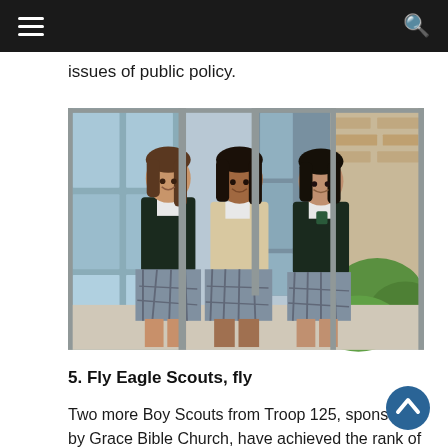issues of public policy.
[Figure (photo): Three young women in school uniforms (plaid skirts and dark blazers) smiling and standing together indoors in front of large windows, with greenery visible outside.]
5. Fly Eagle Scouts, fly
Two more Boy Scouts from Troop 125, sponsored by Grace Bible Church, have achieved the rank of Eagle, the